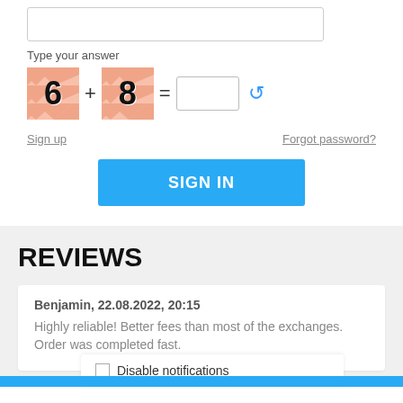[Figure (other): Empty text input box for answer]
Type your answer
[Figure (other): CAPTCHA math problem: two chevron-patterned tiles showing digits 6 and 8, plus sign, equals sign, answer input box, and refresh icon]
Sign up
Forgot password?
[Figure (other): Blue SIGN IN button]
REVIEWS
Benjamin, 22.08.2022, 20:15
Highly reliable! Better fees than most of the exchanges. Order was completed fast.
Disable notifications